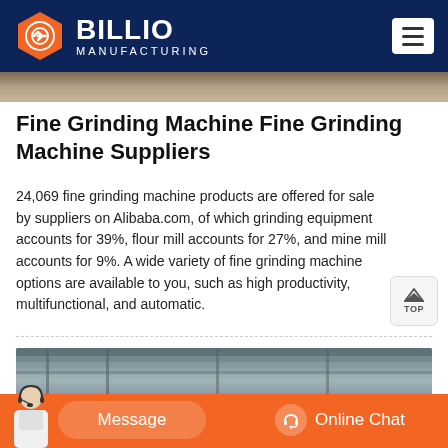[Figure (logo): Billio Manufacturing logo with orange hexagon icon and white text on dark navy blue header bar]
[Figure (photo): Partial top strip of an industrial/manufacturing facility photograph]
Fine Grinding Machine Fine Grinding Machine Suppliers
24,069 fine grinding machine products are offered for sale by suppliers on Alibaba.com, of which grinding equipment accounts for 39%, flour mill accounts for 27%, and mine mill accounts for 9%. A wide variety of fine grinding machine options are available to you, such as high productivity, multifunctional, and automatic.
[Figure (photo): Interior of an industrial manufacturing facility showing ceiling with metal pipes and ducts, with orange equipment visible at bottom]
[Figure (other): Orange bottom bar with Message button on left and Online Chat button with headset icon on right, plus customer service person silhouette on far left]